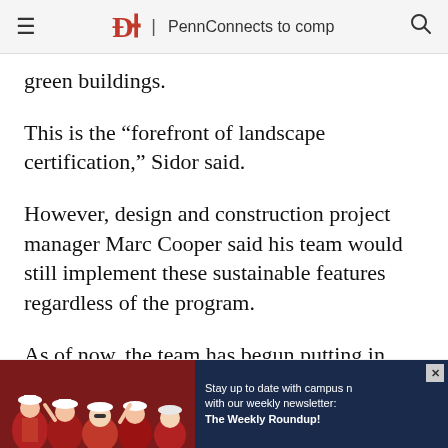DP | PennConnects to comp
green buildings.
This is the “forefront of landscape certification,” Sidor said.
However, design and construction project manager Marc Cooper said his team would still implement these sustainable features regardless of the program.
As of now, the team has begun putting in underground infrastructure, including piping, a
[Figure (photo): Advertisement banner showing people in red shirts with a dark blue ad panel reading: Stay up to date with campus news with our weekly newsletter: The Weekly Roundup!]